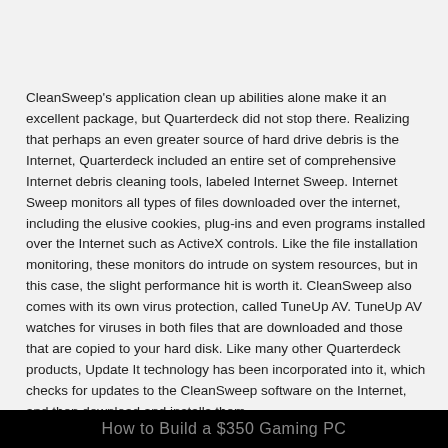CleanSweep's application clean up abilities alone make it an excellent package, but Quarterdeck did not stop there. Realizing that perhaps an even greater source of hard drive debris is the Internet, Quarterdeck included an entire set of comprehensive Internet debris cleaning tools, labeled Internet Sweep. Internet Sweep monitors all types of files downloaded over the internet, including the elusive cookies, plug-ins and even programs installed over the Internet such as ActiveX controls. Like the file installation monitoring, these monitors do intrude on system resources, but in this case, the slight performance hit is worth it. CleanSweep also comes with its own virus protection, called TuneUp AV. TuneUp AV watches for viruses in both files that are downloaded and those that are copied to your hard disk. Like many other Quarterdeck products, Update It technology has been incorporated into it, which checks for updates to the CleanSweep software on the Internet, and then download and installs them.
How to Build a $350 Gaming PC